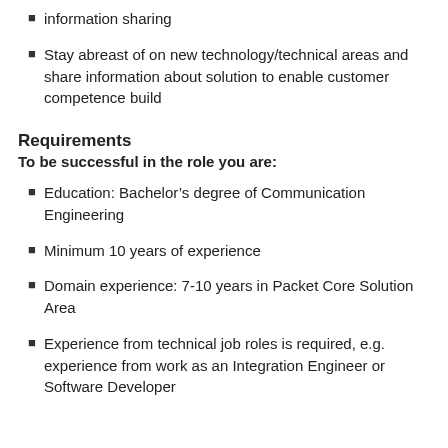information sharing
Stay abreast of on new technology/technical areas and share information about solution to enable customer competence build
Requirements
To be successful in the role you are:
Education: Bachelor’s degree of Communication Engineering
Minimum 10 years of experience
Domain experience: 7-10 years in Packet Core Solution Area
Experience from technical job roles is required, e.g. experience from work as an Integration Engineer or Software Developer